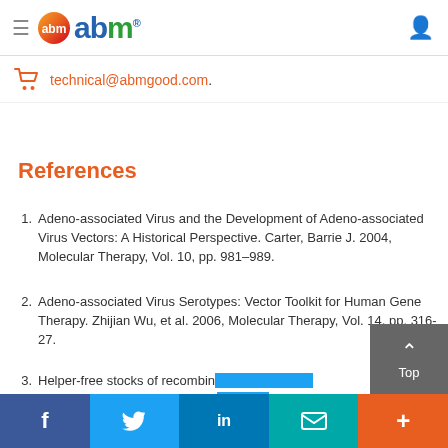abm logo header with hamburger menu and user icon
technical@abmgood.com.
References
Adeno-associated Virus and the Development of Adeno-associated Virus Vectors: A Historical Perspective. Carter, Barrie J. 2004, Molecular Therapy, Vol. 10, pp. 981–989.
Adeno-associated Virus Serotypes: Vector Toolkit for Human Gene Therapy. Zhijian Wu, et al. 2006, Molecular Therapy, Vol. 14, pp. 316-27.
Helper-free stocks of recombinant adeno-associated viruses: normal integration does not require viral gene expression. Samulski, R. J., et al. 1989, J. Viro...